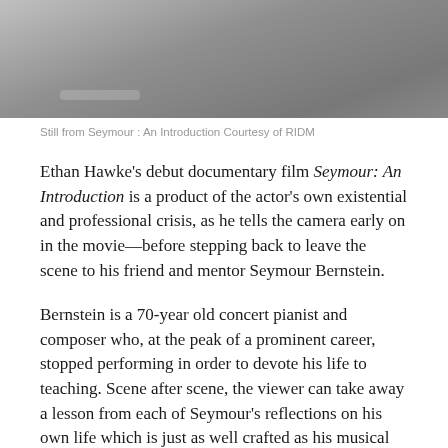[Figure (photo): Still from the documentary film Seymour: An Introduction — a gray-toned cinematic still]
Still from Seymour : An Introduction Courtesy of RIDM
Ethan Hawke's debut documentary film Seymour: An Introduction is a product of the actor's own existential and professional crisis, as he tells the camera early on in the movie—before stepping back to leave the scene to his friend and mentor Seymour Bernstein.
Bernstein is a 70-year old concert pianist and composer who, at the peak of a prominent career, stopped performing in order to devote his life to teaching. Scene after scene, the viewer can take away a lesson from each of Seymour's reflections on his own life which is just as well crafted as his musical talent.
The most profound moments are always paired with witty, amusing anecdotes—from Glenn Gould's tendency to show off, to Beethoven reproaching his male audience for breaking